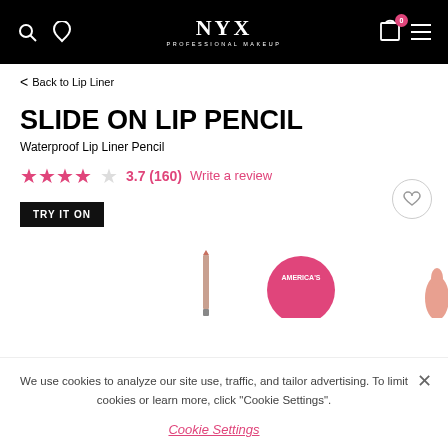NYX Professional Makeup navigation bar
< Back to Lip Liner
SLIDE ON LIP PENCIL
Waterproof Lip Liner Pencil
3.7 (160)   Write a review
TRY IT ON
[Figure (screenshot): NYX product page showing Slide On Lip Pencil with lip liner pencil and America's badge partially visible]
We use cookies to analyze our site use, traffic, and tailor advertising. To limit cookies or learn more, click "Cookie Settings".
Cookie Settings